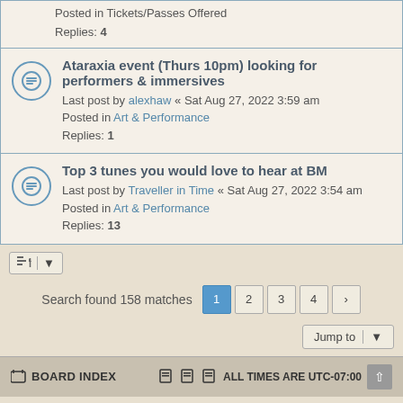Posted in Tickets/Passes Offered
Replies: 4
Ataraxia event (Thurs 10pm) looking for performers & immersives
Last post by alexhaw « Sat Aug 27, 2022 3:59 am
Posted in Art & Performance
Replies: 1
Top 3 tunes you would love to hear at BM
Last post by Traveller in Time « Sat Aug 27, 2022 3:54 am
Posted in Art & Performance
Replies: 13
Search found 158 matches  1 2 3 4 >
Jump to
BOARD INDEX   ALL TIMES ARE UTC-07:00
Powered by phpBB® Forum Software © phpBB Limited
GZIP: On